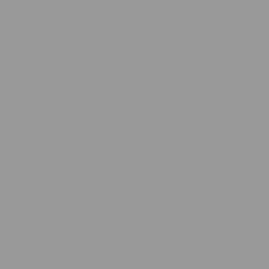you're talking about, but t
"The last 30 years have se with a career path. As they became academicised, wr
I don't think he's talking a likes of Elkin and Sorrenti talking about "academic w workshops and the like. E the feedback loop have le recognisable, but not as i
In some respects, in the re David Foster Wallace mad is of the history of the pos
(Also, it seems clear that ( the one book that won the
POSTED BY: RICHARD | 05/15/2007